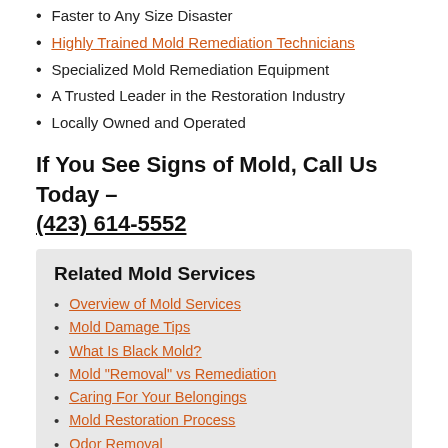Faster to Any Size Disaster
Highly Trained Mold Remediation Technicians
Specialized Mold Remediation Equipment
A Trusted Leader in the Restoration Industry
Locally Owned and Operated
If You See Signs of Mold, Call Us Today – (423) 614-5552
Related Mold Services
Overview of Mold Services
Mold Damage Tips
What Is Black Mold?
Mold "Removal" vs Remediation
Caring For Your Belongings
Mold Restoration Process
Odor Removal
Commercial Mold Remediation
Understanding Mold
Microscopic mold spores exist almost everywhere, outdoors